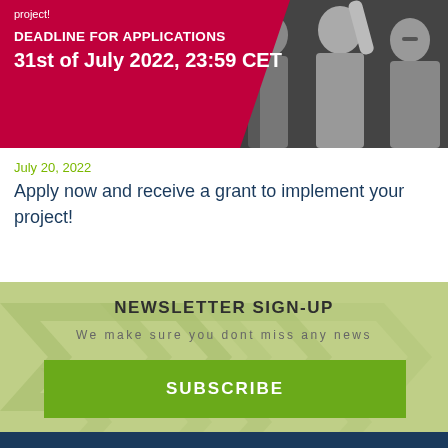[Figure (photo): Banner image with red overlay showing deadline for applications. Background shows black and white photo of young people celebrating. Red diagonal panel on left with white text: 'project!' at top, then 'DEADLINE FOR APPLICATIONS' and '31st of July 2022, 23:59 CET']
July 20, 2022
Apply now and receive a grant to implement your project!
[Figure (infographic): Light green newsletter sign-up section with watermark arrow design. Contains heading 'NEWSLETTER SIGN-UP', subtext 'We make sure you dont miss any news', and a green 'SUBSCRIBE' button.]